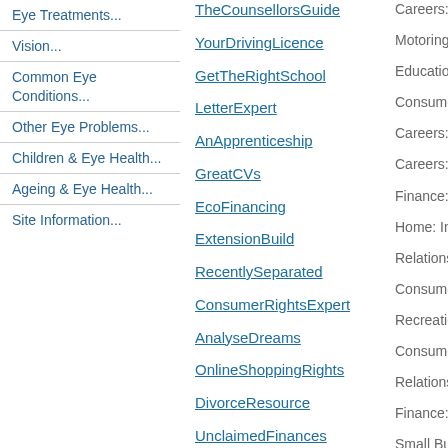Eye Treatments...
Vision...
Common Eye Conditions...
Other Eye Problems...
Children & Eye Health...
Ageing & Eye Health...
Site Information...
TheCounsellorsGuide
YourDrivingLicence
GetTheRightSchool
LetterExpert
AnApprenticeship
GreatCVs
EcoFinancing
ExtensionBuild
RecentlySeparated
ConsumerRightsExpert
AnalyseDreams
OnlineShoppingRights
DivorceResource
UnclaimedFinances
GreatBusinessLetters
YouthGroupGames
SugarFreeRecipes
AboutLearningDisabilities
GreatSpeech
EstatesOrTrusts
EmployeePrivacyRights